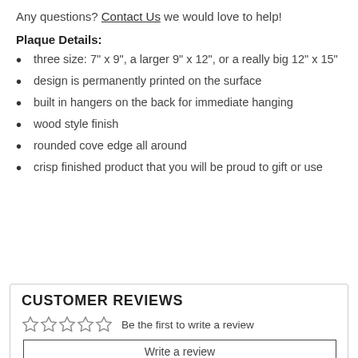Any questions? Contact Us we would love to help!
Plaque Details:
three size: 7" x 9", a larger 9" x 12", or a really big 12" x 15"
design is permanently printed on the surface
built in hangers on the back for immediate hanging
wood style finish
rounded cove edge all around
crisp finished product that you will be proud to gift or use
CUSTOMER REVIEWS
Be the first to write a review
Write a review